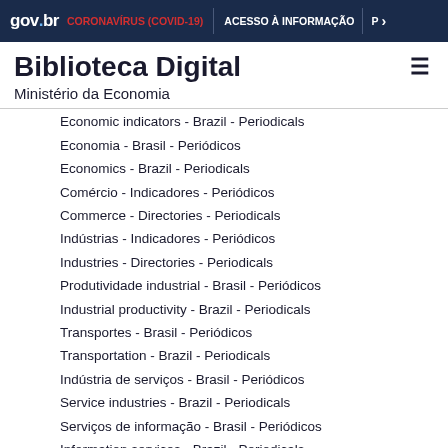gov.br | CORONAVÍRUS (COVID-19) | ACESSO À INFORMAÇÃO
Biblioteca Digital
Ministério da Economia
Economic indicators - Brazil - Periodicals
Economia - Brasil - Periódicos
Economics - Brazil - Periodicals
Comércio - Indicadores - Periódicos
Commerce - Directories - Periodicals
Indústrias - Indicadores - Periódicos
Industries - Directories - Periodicals
Produtividade industrial - Brasil - Periódicos
Industrial productivity - Brazil - Periodicals
Transportes - Brasil - Periódicos
Transportation - Brazil - Periodicals
Indústria de serviços - Brasil - Periódicos
Service industries - Brazil - Periodicals
Serviços de informação - Brasil - Periódicos
Information services - Brazil - Periodicals
Serviços de comunicação - Brasil - Periódicos
Communication and traffic - Brazil - Periodicals